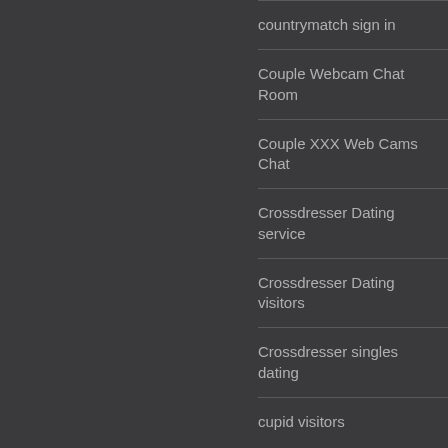countrymatch sign in
Couple Webcam Chat Room
Couple XXX Web Cams Chat
Crossdresser Dating service
Crossdresser Dating visitors
Crossdresser singles dating
cupid visitors